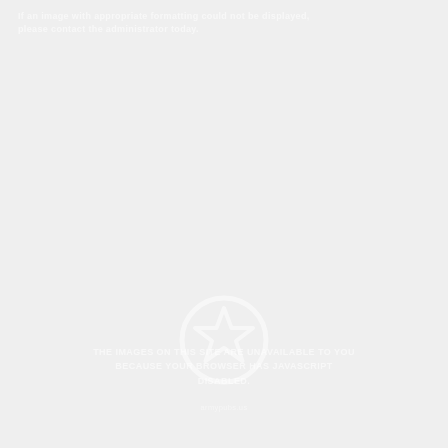If an image with appropriate formatting could not be displayed, please contact the administrator today.
[Figure (logo): Military star logo — a five-pointed star inside a broken circle, rendered in faint white/light color on a light gray background]
THE IMAGES ON THIS SITE ARE UNAVAILABLE TO YOU BECAUSE YOUR BROWSER HAS JAVASCRIPT DISABLED.
armypubs.us